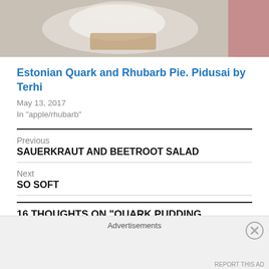[Figure (photo): Cropped top portion of a food photo showing what appears to be a pie or pudding in a white bowl, with a red/pink element visible on the right edge]
Estonian Quark and Rhubarb Pie. Pidusai by Terhi
May 13, 2017
In "apple/rhubarb"
Previous
SAUERKRAUT AND BEETROOT SALAD
Next
SO SOFT
16 THOUGHTS ON “QUARK PUDDING. KOHUPIMAVORM”
Advertisements